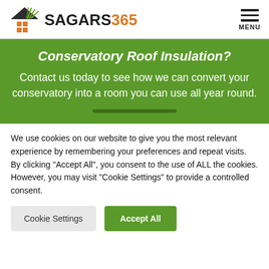SAGARS 365 — MENU
Conservatory Roof Insulation?
Contact us today to see how we can convert your conservatory into a room you can use all year round.
We use cookies on our website to give you the most relevant experience by remembering your preferences and repeat visits. By clicking "Accept All", you consent to the use of ALL the cookies. However, you may visit "Cookie Settings" to provide a controlled consent.
Cookie Settings
Accept All